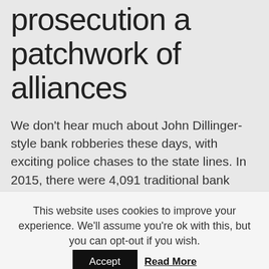prosecution a patchwork of alliances
We don't hear much about John Dillinger-style bank robberies these days, with exciting police chases to the state lines. In 2015, there were 4,091 traditional bank robberies in the US, according to the FBI, with an average loss of less than $4,000 per incident. No customers or bank employees were killed in any of these robberies, though eight would-be robbers were killed.
The clearance rate for traditional bank robberies is
This website uses cookies to improve your experience. We'll assume you're ok with this, but you can opt-out if you wish.
Accept
Read More